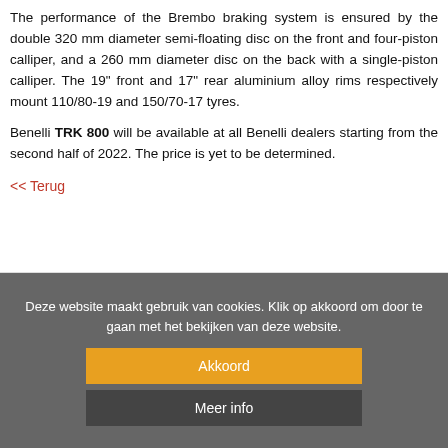The performance of the Brembo braking system is ensured by the double 320 mm diameter semi-floating disc on the front and four-piston calliper, and a 260 mm diameter disc on the back with a single-piston calliper. The 19" front and 17" rear aluminium alloy rims respectively mount 110/80-19 and 150/70-17 tyres.
Benelli TRK 800 will be available at all Benelli dealers starting from the second half of 2022. The price is yet to be determined.
<< Terug
Deze website maakt gebruik van cookies. Klik op akkoord om door te gaan met het bekijken van deze website.
Akkoord
Meer info